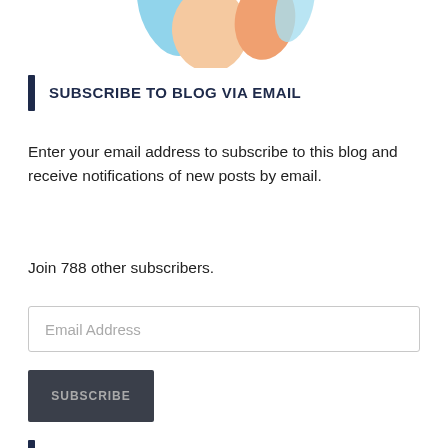[Figure (illustration): Partial illustration visible at top of page, showing colorful hands or figures cropped at the bottom]
SUBSCRIBE TO BLOG VIA EMAIL
Enter your email address to subscribe to this blog and receive notifications of new posts by email.
Join 788 other subscribers.
Email Address
SUBSCRIBE
SIGN UP FOR MY NEWSLETTER